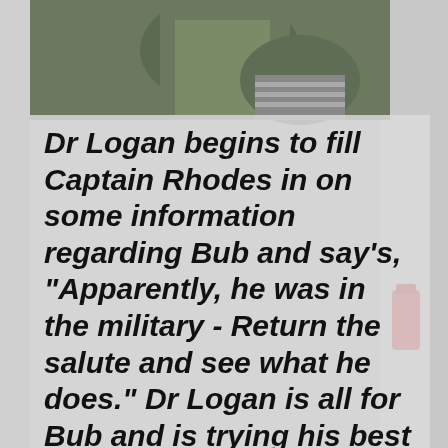[Figure (photo): Background photo of people in military/green jackets, partially visible behind semi-transparent grey text overlay. A red fire extinguisher is visible on the right side.]
Dr Logan begins to fill Captain Rhodes in on some information regarding Bub and say's, "Apparently, he was in the military - Return the salute and see what he does." Dr Logan is all for Bub and is trying his best to get Rhodes on his side so he can continues his experiments in some